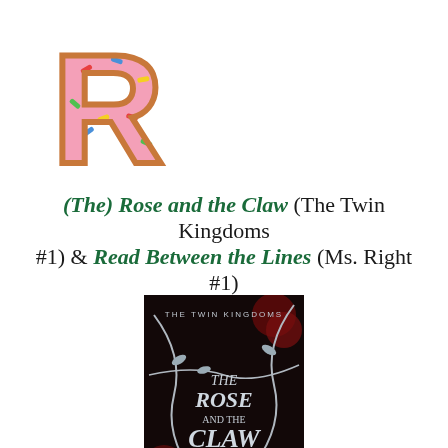[Figure (logo): Pink donut-shaped letter R logo with colorful sprinkles]
(The) Rose and the Claw (The Twin Kingdoms #1) & Read Between the Lines (Ms. Right #1)
[Figure (photo): Book cover of 'The Rose and the Claw' (The Twin Kingdoms) by Nancy O'Toole, featuring dark background with red roses and silver thorny vines, with metallic styled title text]